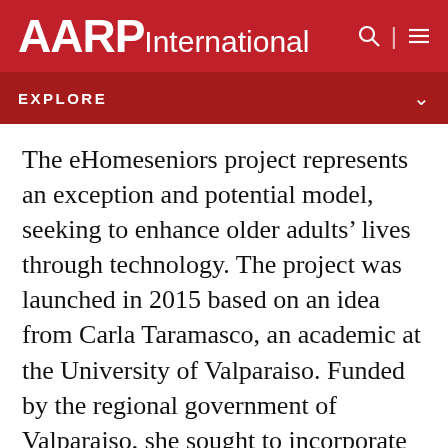AARP International
EXPLORE
The eHomeseniors project represents an exception and potential model, seeking to enhance older adults’ lives through technology. The project was launched in 2015 based on an idea from Carla Taramasco, an academic at the University of Valparaiso. Funded by the regional government of Valparaiso, she sought to incorporate the idea of using technology to create